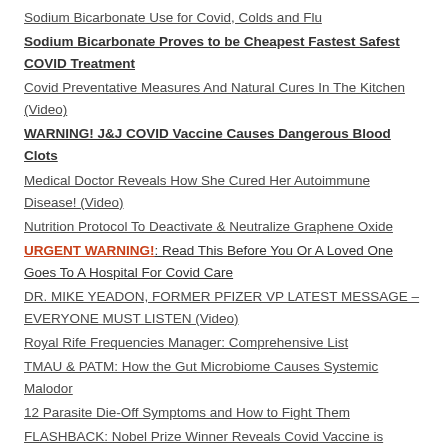Sodium Bicarbonate Use for Covid, Colds and Flu
Sodium Bicarbonate Proves to be Cheapest Fastest Safest COVID Treatment
Covid Preventative Measures And Natural Cures In The Kitchen (Video)
WARNING! J&J COVID Vaccine Causes Dangerous Blood Clots
Medical Doctor Reveals How She Cured Her Autoimmune Disease! (Video)
Nutrition Protocol To Deactivate & Neutralize Graphene Oxide
URGENT WARNING!: Read This Before You Or A Loved One Goes To A Hospital For Covid Care
DR. MIKE YEADON, FORMER PFIZER VP LATEST MESSAGE – EVERYONE MUST LISTEN (Video)
Royal Rife Frequencies Manager: Comprehensive List
TMAU & PATM: How the Gut Microbiome Causes Systemic Malodor
12 Parasite Die-Off Symptoms and How to Fight Them
FLASHBACK: Nobel Prize Winner Reveals Covid Vaccine is 'Creating Variants'